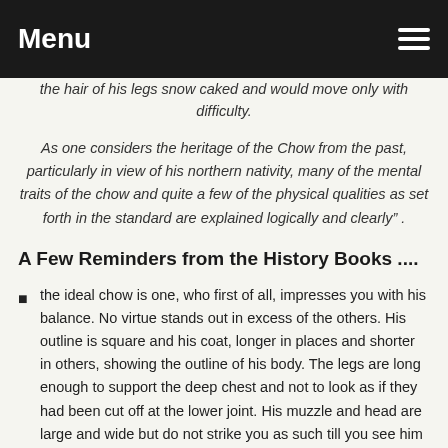Menu
the hair of his legs snow caked and would move only with difficulty.
As one considers the heritage of the Chow from the past, particularly in view of his northern nativity, many of the mental traits of the chow and quite a few of the physical qualities as set forth in the standard are explained logically and clearly".
A Few Reminders from the History Books ....
the ideal chow is one, who first of all, impresses you with his balance. No virtue stands out in excess of the others. His outline is square and his coat, longer in places and shorter in others, showing the outline of his body. The legs are long enough to support the deep chest and not to look as if they had been cut off at the lower joint. His muzzle and head are large and wide but do not strike you as such till you see him with other dogs of less good heads and muzzles-.it would be a pity that one of the most unspoiled breeds should allow